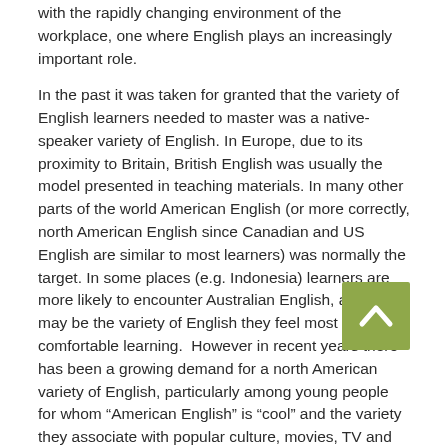with the rapidly changing environment of the workplace, one where English plays an increasingly important role.
In the past it was taken for granted that the variety of English learners needed to master was a native-speaker variety of English. In Europe, due to its proximity to Britain, British English was usually the model presented in teaching materials. In many other parts of the world American English (or more correctly, north American English since Canadian and US English are similar to most learners) was normally the target. In some places (e.g. Indonesia) learners are more likely to encounter Australian English, and this may be the variety of English they feel most comfortable learning. However in recent years there has been a growing demand for a north American variety of English, particularly among young people for whom “American English” is “cool” and the variety they associate with popular culture, movies, TV and the internet. It more closely resembles their “idea” of English.
There are two schools of thought concerning how closely learners should try to approximate native-speaker usage when learning English. The traditional view is that mastery